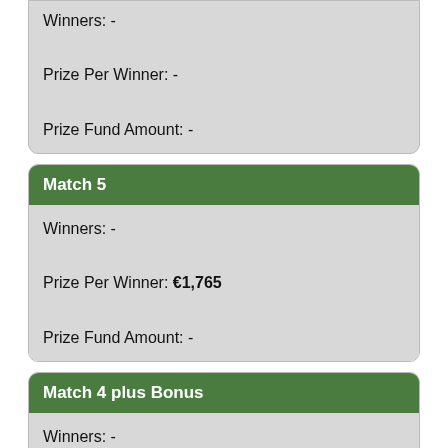Winners: -
Prize Per Winner: -
Prize Fund Amount: -
Match 5
Winners: -
Prize Per Winner: €1,765
Prize Fund Amount: -
Match 4 plus Bonus
Winners: -
Prize Per Winner: €175
Prize Fund Amount: -
Match 4
Winners: -
Prize Per Winner: €57